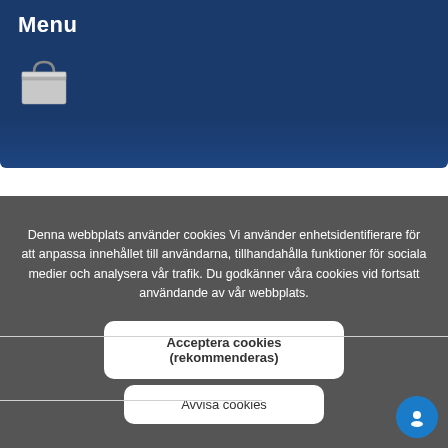Menu
[Figure (screenshot): Website navigation menu header bar with dark blue background and a shopping bag icon below the Menu title]
Denna webbplats använder cookies Vi använder enhetsidentifierare för att anpassa innehållet till användarna, tillhandahålla funktioner för sociala medier och analysera vår trafik. Du godkänner våra cookies vid fortsatt användande av vår webbplats.
Acceptera cookies (rekommenderas)
Avvisa cookies